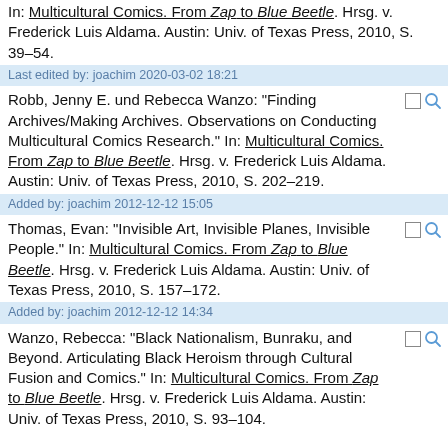In: Multicultural Comics. From Zap to Blue Beetle. Hrsg. v. Frederick Luis Aldama. Austin: Univ. of Texas Press, 2010, S. 39–54.
Last edited by: joachim 2020-03-02 18:21
Robb, Jenny E. und Rebecca Wanzo: "Finding Archives/Making Archives. Observations on Conducting Multicultural Comics Research." In: Multicultural Comics. From Zap to Blue Beetle. Hrsg. v. Frederick Luis Aldama. Austin: Univ. of Texas Press, 2010, S. 202–219.
Added by: joachim 2012-12-12 15:05
Thomas, Evan: "Invisible Art, Invisible Planes, Invisible People." In: Multicultural Comics. From Zap to Blue Beetle. Hrsg. v. Frederick Luis Aldama. Austin: Univ. of Texas Press, 2010, S. 157–172.
Added by: joachim 2012-12-12 14:34
Wanzo, Rebecca: "Black Nationalism, Bunraku, and Beyond. Articulating Black Heroism through Cultural Fusion and Comics." In: Multicultural Comics. From Zap to Blue Beetle. Hrsg. v. Frederick Luis Aldama. Austin: Univ. of Texas Press, 2010, S. 93–104.